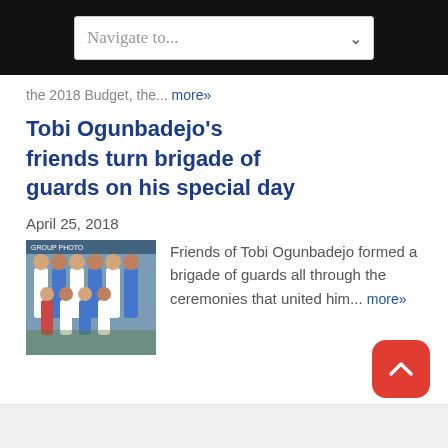Navigate to...
the 2018 Budget, the... more»
Tobi Ogunbadejo's friends turn brigade of guards on his special day
April 25, 2018
[Figure (photo): Group photo of Tobi Ogunbadejo's friends in matching attire at a ceremony]
Friends of Tobi Ogunbadejo formed a brigade of guards all through the ceremonies that united him... more»